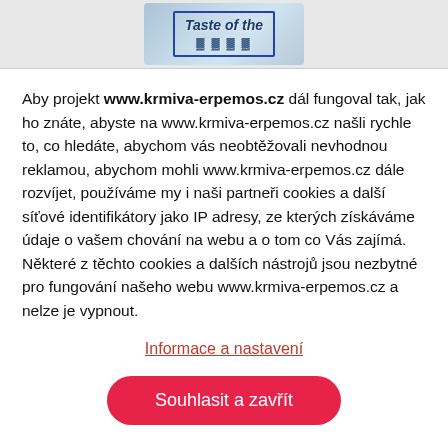[Figure (illustration): Partial product image with 'Taste of the' text visible on a blue/icy background banner at the top of the page]
Aby projekt www.krmiva-erpemos.cz dál fungoval tak, jak ho znáte, abyste na www.krmiva-erpemos.cz našli rychle to, co hledáte, abychom vás neobtěžovali nevhodnou reklamou, abychom mohli www.krmiva-erpemos.cz dále rozvíjet, používáme my i naši partneři cookies a další síťové identifikátory jako IP adresy, ze kterých získáváme údaje o vašem chování na webu a o tom co Vás zajímá. Některé z těchto cookies a dalších nástrojů jsou nezbytné pro fungování našeho webu www.krmiva-erpemos.cz a nelze je vypnout.
Informace a nastavení
Souhlasit a zavřít